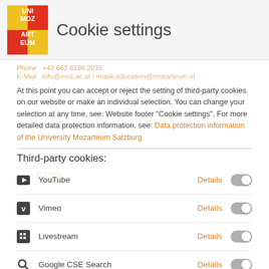[Figure (logo): University Mozarteum Salzburg logo - yellow and red block letters spelling UNI MOZ ART EUM]
Cookie settings
Phone +43 662 6198 2035
E-Mail info@moz.ac.at / musik.education@mozarteum.at
At this point you can accept or reject the setting of third-party cookies on our website or make an individual selection. You can change your selection at any time, see: Website footer "Cookie settings". For more detailed data protection information, see: Data protection information of the University Mozarteum Salzburg
Third-party cookies:
YouTube - Details
Vimeo - Details
Livestream - Details
Google CSE Search - Details
Required Cookies:
No consent required - Details